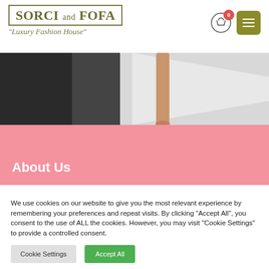SORCI and FOFA — "Luxury Fashion House"
[Figure (photo): Cropped hero image showing a person's legs walking on a light-colored surface with dark background on left side]
About Us
We use cookies on our website to give you the most relevant experience by remembering your preferences and repeat visits. By clicking "Accept All", you consent to the use of ALL the cookies. However, you may visit "Cookie Settings" to provide a controlled consent.
Cookie Settings | Accept All